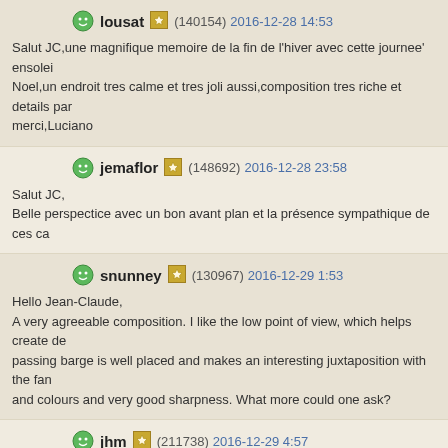lousat (140154) 2016-12-28 14:53
Salut JC,une magnifique memoire de la fin de l'hiver avec cette journee' ensolei... Noel,un endroit tres calme et tres joli aussi,composition tres riche et details par... merci,Luciano
jemaflor (148692) 2016-12-28 23:58
Salut JC,
Belle perspectice avec un bon avant plan et la présence sympathique de ces ca...
snunney (130967) 2016-12-29 1:53
Hello Jean-Claude,
A very agreeable composition. I like the low point of view, which helps create de... passing barge is well placed and makes an interesting juxtaposition with the fan... and colours and very good sharpness. What more could one ask?
jhm (211738) 2016-12-29 4:57
Hello Jean Claude,
The boat and ducks are the real eye-catchers on your nice picture.